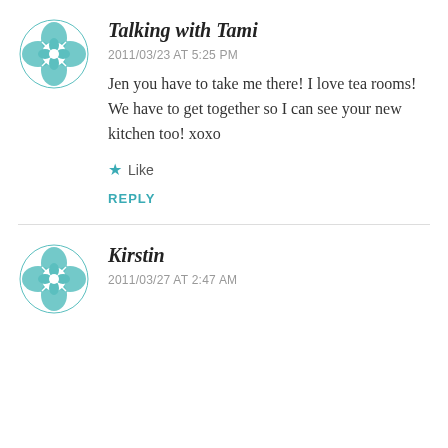[Figure (illustration): Teal geometric floral avatar icon]
Talking with Tami
2011/03/23 AT 5:25 PM
Jen you have to take me there! I love tea rooms! We have to get together so I can see your new kitchen too! xoxo
Like
REPLY
[Figure (illustration): Teal geometric floral avatar icon]
Kirstin
2011/03/27 AT 2:47 AM